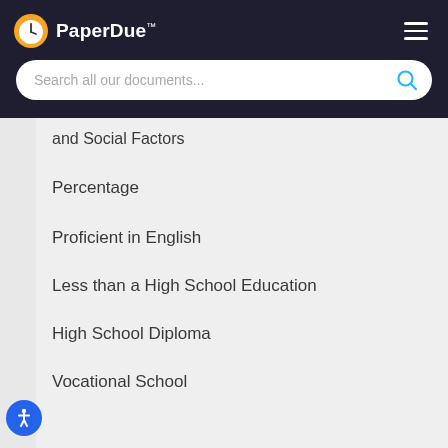PaperDue™
and Social Factors
Percentage
Proficient in English
Less than a High School Education
High School Diploma
Vocational School